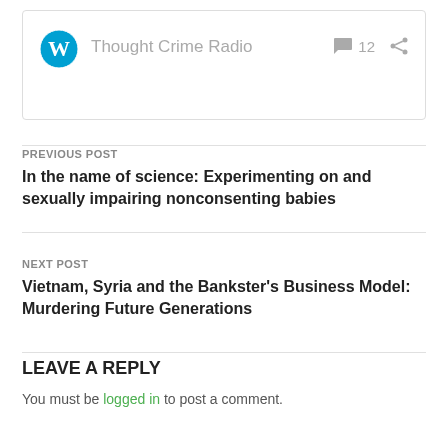[Figure (screenshot): WordPress logo (blue circle with W) and text 'Thought Crime Radio' with comment icon showing 12 and a share icon]
PREVIOUS POST
In the name of science: Experimenting on and sexually impairing nonconsenting babies
NEXT POST
Vietnam, Syria and the Bankster's Business Model: Murdering Future Generations
LEAVE A REPLY
You must be logged in to post a comment.